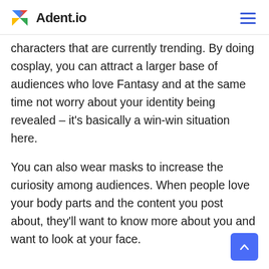Adent.io
characters that are currently trending. By doing cosplay, you can attract a larger base of audiences who love Fantasy and at the same time not worry about your identity being revealed – it's basically a win-win situation here.
You can also wear masks to increase the curiosity among audiences. When people love your body parts and the content you post about, they'll want to know more about you and want to look at your face.